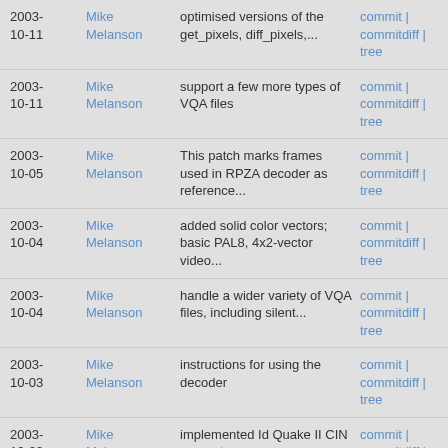2003-10-11 | Mike Melanson | optimised versions of the get_pixels, diff_pixels,... | commit | commitdiff | tree
2003-10-11 | Mike Melanson | support a few more types of VQA files | commit | commitdiff | tree
2003-10-05 | Mike Melanson | This patch marks frames used in RPZA decoder as reference... | commit | commitdiff | tree
2003-10-04 | Mike Melanson | added solid color vectors; basic PAL8, 4x2-vector video... | commit | commitdiff | tree
2003-10-04 | Mike Melanson | handle a wider variety of VQA files, including silent... | commit | commitdiff | tree
2003-10-03 | Mike Melanson | instructions for using the decoder | commit | commitdiff | tree
2003-10-03 | Mike Melanson | implemented Id Quake II CIN support | commit | commitdiff | tree